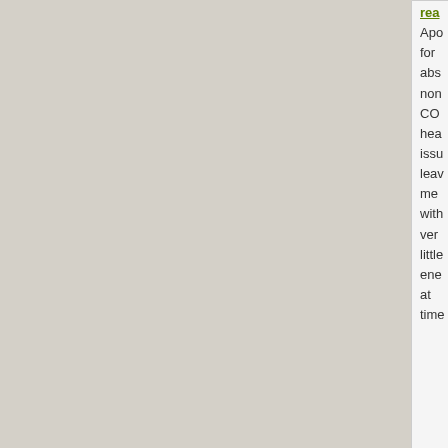rea
Apo for abs non CO hea issu leav me with ver little ene at time
[Figure (illustration): Rainbow flag image in the user avatar area with diagonal stripes: red, orange, yellow, green, blue, purple, magenta on white background]
Boston Castle
Envoy
Posts: 332
Founded: Aug 21, 2020
New York Times Democracy
QUOTE
by Boston Castle
» Wed Oct 28, 2020 4:19 pm